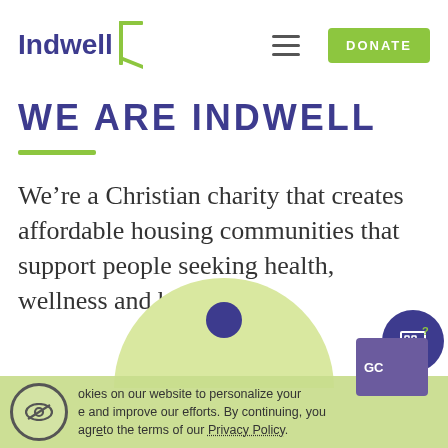[Figure (logo): Indwell logo with dark purple text and green bracket/door icon on white header background]
WE ARE INDWELL
We're a Christian charity that creates affordable housing communities that support people seeking health, wellness and belonging.
[Figure (illustration): Light green semicircle with small dark circle (person icon) at bottom of page]
okies on our website to personalize your e and improve our efforts. By continuing, you agree to the terms of our Privacy Policy.